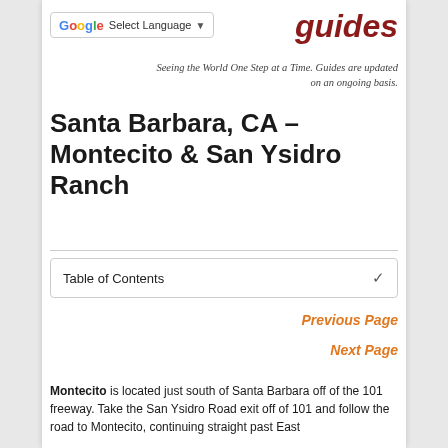[Figure (logo): Google Translate Select Language widget with G logo and dropdown caret]
guides
Seeing the World One Step at a Time. Guides are updated on an ongoing basis.
Santa Barbara, CA – Montecito & San Ysidro Ranch
Table of Contents
Previous Page
Next Page
Montecito is located just south of Santa Barbara off of the 101 freeway. Take the San Ysidro Road exit off of 101 and follow the road to Montecito, continuing straight past East